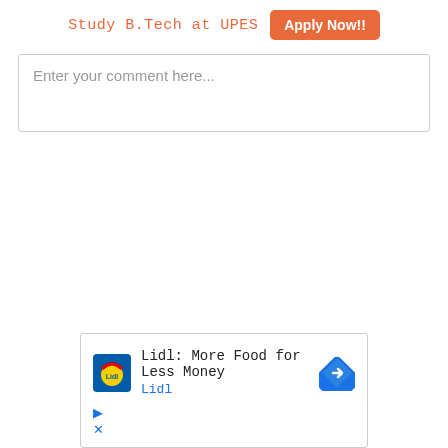Study B.Tech at UPES  Apply Now!!
Enter your comment here...
[Figure (other): Advertisement banner for Lidl: More Food for Less Money with Lidl logo and navigation arrow icon]